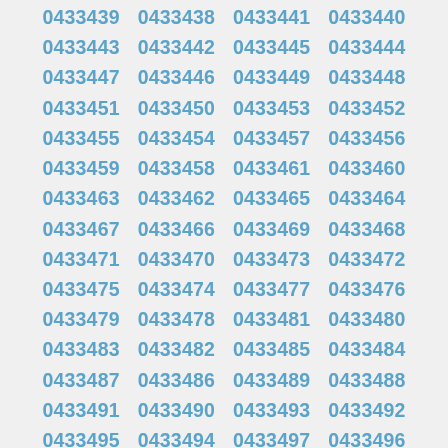0433439 0433438 0433441 0433440
0433443 0433442 0433445 0433444
0433447 0433446 0433449 0433448
0433451 0433450 0433453 0433452
0433455 0433454 0433457 0433456
0433459 0433458 0433461 0433460
0433463 0433462 0433465 0433464
0433467 0433466 0433469 0433468
0433471 0433470 0433473 0433472
0433475 0433474 0433477 0433476
0433479 0433478 0433481 0433480
0433483 0433482 0433485 0433484
0433487 0433486 0433489 0433488
0433491 0433490 0433493 0433492
0433495 0433494 0433497 0433496
0433499 0433498 0433501 0433500
0433503 0433502 0433505 0433504
0433507 0433506 0433509 0433508
0433511 0433510 0433513 0433512
0433515 0433514 0433517 0433516
0433519 0433518 0433521 0433520
0433523 0433522 0433525 0433524
0433527 0433526 0433529 0433528
0433531 0433530 0433533 0433532
0433535 0433534 0433537 0433536
0433539 0433538 0433541 0433540
0433543 0433542 0433545 0433544
0433547 0433546 0433549 0433548
0433551 0433550 0433553 0433552